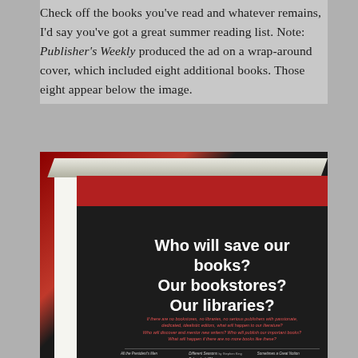Check off the books you've read and whatever remains, I'd say you've got a great summer reading list. Note: Publisher's Weekly produced the ad on a wrap-around cover, which included eight additional books. Those eight appear below the image.
[Figure (photo): Photo of a book cover with dark background and red accent, showing the text 'Who will save our books? Our bookstores? Our libraries?' in large white text, with red italic subtitle text and a list of book titles in small white text at the bottom.]